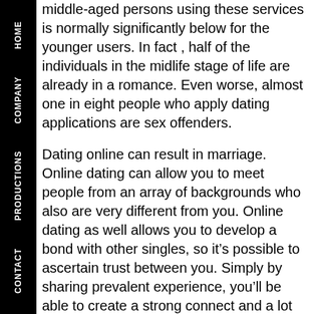HOME | COMPANY | PRODUCTIONS | CONTACT
middle-aged persons using these services is normally significantly below for the younger users. In fact , half of the individuals in the midlife stage of life are already in a romance. Even worse, almost one in eight people who apply dating applications are sex offenders.
Dating online can result in marriage. Online dating can allow you to meet people from an array of backgrounds who also are very different from you. Online dating as well allows you to develop a bond with other singles, so it’s possible to ascertain trust between you. Simply by sharing prevalent experience, you’ll be able to create a strong connect and a lot more solid relationship. And who knows? Perhaps you’ll also end up with the person that you care about!